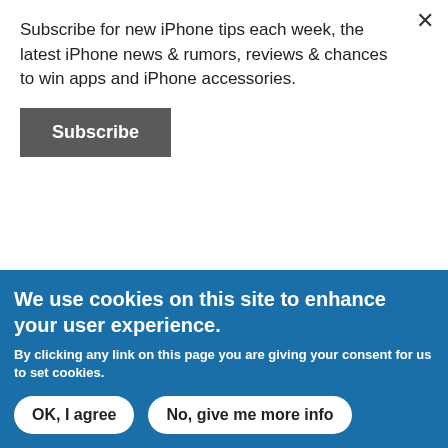Subscribe for new iPhone tips each week, the latest iPhone news & rumors, reviews & chances to win apps and iPhone accessories.
Subscribe
service reps jaded, I guess you would rather talk to a machine huh, would wouldn't know what sympathy is. Don't get me wrong there are some people who really don't care about there job. But to say customer service reps are, you
We use cookies on this site to enhance your user experience.
By clicking any link on this page you are giving your consent for us to set cookies.
OK, I agree
No, give me more info